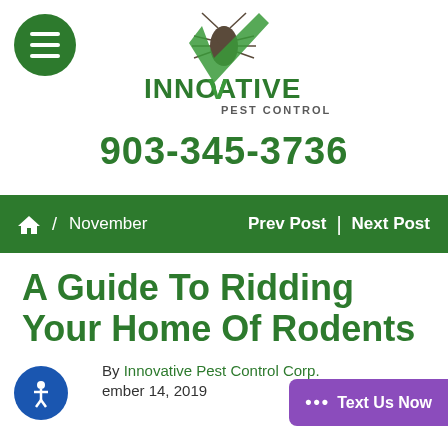[Figure (logo): Innovative Pest Control logo with cockroach and green checkmark, green text reading INNOVATIVE PEST CONTROL]
903-345-3736
Home / November   Prev Post | Next Post
A Guide To Ridding Your Home Of Rodents
By Innovative Pest Control Corp.
November 14, 2019